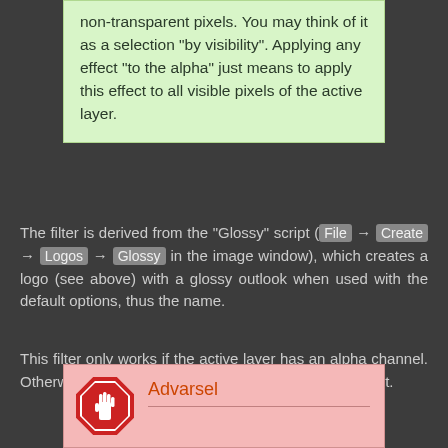non-transparent pixels. You may think of it as a selection “by visibility”. Applying any effect “to the alpha” just means to apply this effect to all visible pixels of the active layer.
The filter is derived from the “Glossy” script (File → Create → Logos → Glossy in the image window), which creates a logo (see above) with a glossy outlook when used with the default options, thus the name.
This filter only works if the active layer has an alpha channel. Otherwise, the menu entry is insensitive and grayed out.
[Figure (infographic): Warning box with stop-hand icon and title 'Advarsel' on pink background]